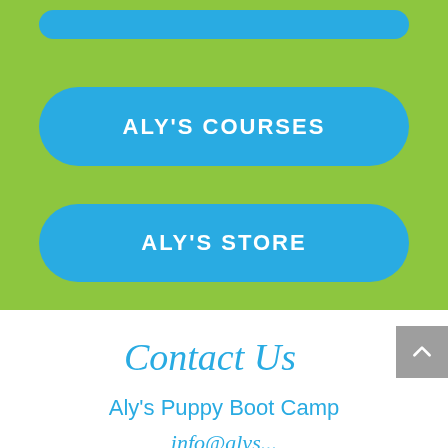[Figure (screenshot): Green background section with two blue rounded-rectangle buttons labeled ALY'S COURSES and ALY'S STORE, partially cut at the top suggesting a third button above]
ALY'S COURSES
ALY'S STORE
Contact Us
Aly's Puppy Boot Camp
info@...